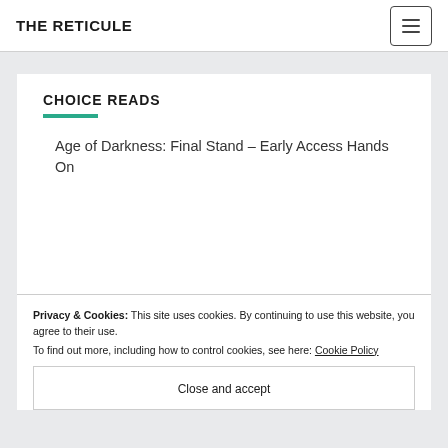THE RETICULE
CHOICE READS
Age of Darkness: Final Stand – Early Access Hands On
Privacy & Cookies: This site uses cookies. By continuing to use this website, you agree to their use.
To find out more, including how to control cookies, see here: Cookie Policy
Close and accept